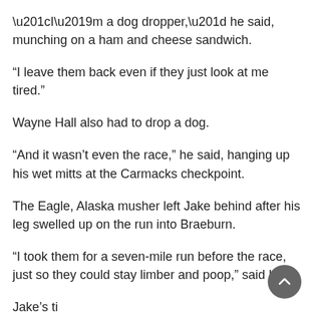“I’m a dog dropper,” he said, munching on a ham and cheese sandwich.
“I leave them back even if they just look at me tired.”
Wayne Hall also had to drop a dog.
“And it wasn’t even the race,” he said, hanging up his wet mitts at the Carmacks checkpoint.
The Eagle, Alaska musher left Jake behind after his leg swelled up on the run into Braeburn.
“I took them for a seven-mile run before the race, just so they could stay limber and poop,” said Hall.
Jake’s time...